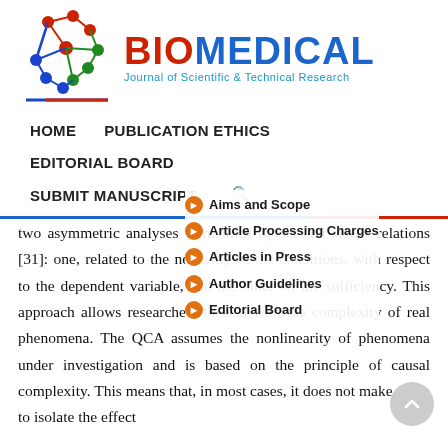[Figure (logo): Biomedical Journal of Scientific & Technical Research logo with molecule graphic and colored text]
HOME   PUBLICATION ETHICS   EDITORIAL BOARD   SUBMIT MANUSCRIPT
Aims and Scope
Article Processing Charges
Articles in Press
Author Guidelines
Editorial Board
two asymmetric analyses formalized by set and subset relations [31]: one, related to the necessity of the conditions, with respect to the dependent variable, and the other on the sufficiency. This approach allows researchers to deal with the complexity of real phenomena. The QCA assumes the nonlinearity of phenomena under investigation and is based on the principle of causal complexity. This means that, in most cases, it does not make sense to isolate the effect